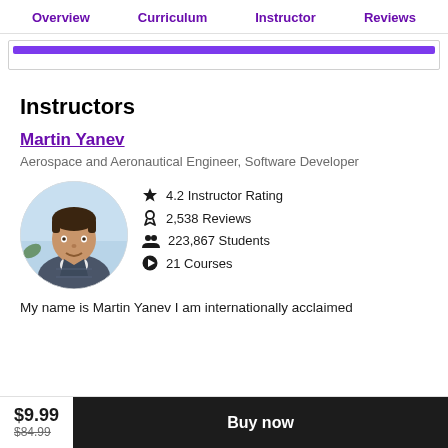Overview  Curriculum  Instructor  Reviews
[Figure (screenshot): Purple progress bar inside a bordered box]
Instructors
Martin Yanev
Aerospace and Aeronautical Engineer, Software Developer
[Figure (photo): Circular profile photo of Martin Yanev, a young man in a plaid blazer]
4.2 Instructor Rating
2,538 Reviews
223,867 Students
21 Courses
My name is Martin Yanev I am internationally acclaimed
$9.99  $84.99
Buy now